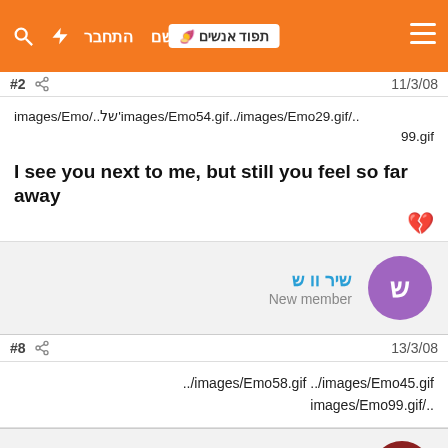תפוד אנשים | הירשם | התחבר
#2  11/3/08
images/Emo/..של'images/Emo54.gif../images/Emo29.gif/..99.gif
I see you next to me, but still you feel so far away 💔
שיר וו ש
New member
#8  13/3/08
images/Emo58.gif ../images/Emo45.gif/..../images/Emo99.gif
stuck in this life1
New member